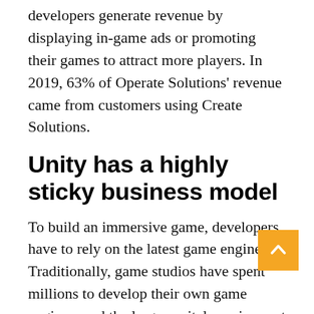developers generate revenue by displaying in-game ads or promoting their games to attract more players. In 2019, 63% of Operate Solutions' revenue came from customers using Create Solutions.
Unity has a highly sticky business model
To build an immersive game, developers have to rely on the latest game engine. Traditionally, game studios have spent millions to develop their own game engines, and the large capital requirement served as a huge barrier for any new company to join the gaming industry.
However, with Unity and Epic Games offering their game engines as software as a service (SaaS),